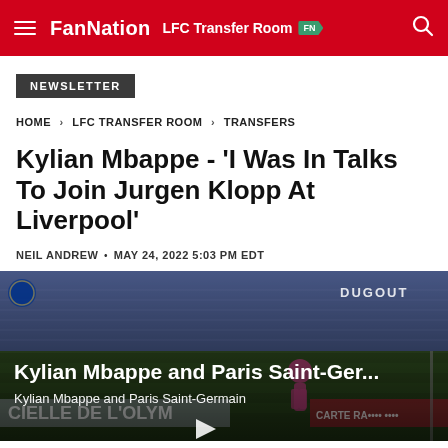FanNation LFC Transfer Room FN
NEWSLETTER
HOME > LFC TRANSFER ROOM > TRANSFERS
Kylian Mbappe - 'I Was In Talks To Join Jurgen Klopp At Liverpool'
NEIL ANDREW • MAY 24, 2022 5:03 PM EDT
[Figure (screenshot): Video thumbnail showing Kylian Mbappe and Paris Saint-Germain at a stadium, with DUGOUT logo in top right, title 'Kylian Mbappe and Paris Saint-Ger...' and subtitle 'Kylian Mbappe and Paris Saint-Germain', and a play button in the center.]